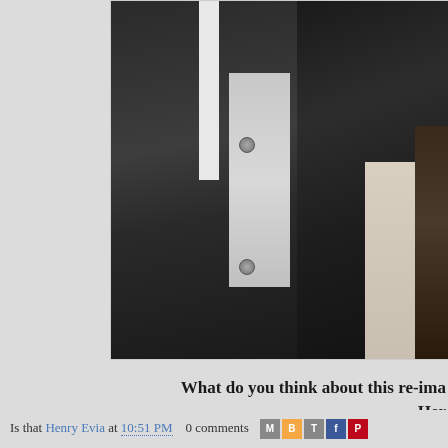[Figure (photo): A person wearing a dark charcoal varsity/letterman jacket with white stripe and grey t-shirt underneath, photographed from the torso down. In the background are stacked books and a sofa. Another person's braided hair is visible on the right edge.]
What do you think about this re-ima... Her...
Is that Henry Evia at 10:51 PM   0 comments